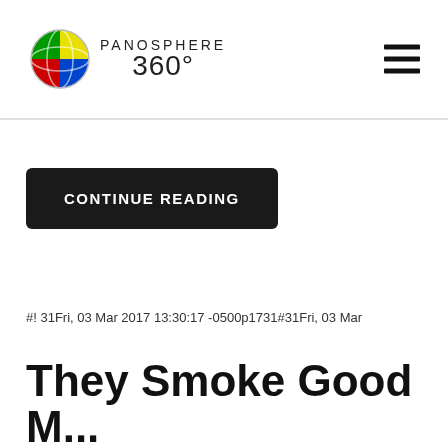PANOSPHERE 360°
CONTINUE READING
#! 31Fri, 03 Mar 2017 13:30:17 -0500p1731#31Fri, 03 Mar
They Smoke Good M...